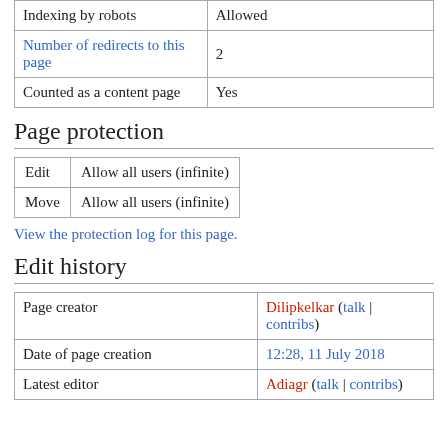| Indexing by robots | Allowed |
| Number of redirects to this page | 2 |
| Counted as a content page | Yes |
Page protection
| Edit | Allow all users (infinite) |
| Move | Allow all users (infinite) |
View the protection log for this page.
Edit history
| Page creator | Dilipkelkar (talk | contribs) |
| Date of page creation | 12:28, 11 July 2018 |
| Latest editor | Adiagr (talk | contribs) |